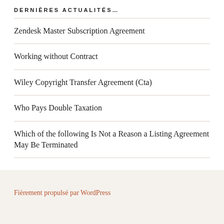DERNIÈRES ACTUALITÉS…
Zendesk Master Subscription Agreement
Working without Contract
Wiley Copyright Transfer Agreement (Cta)
Who Pays Double Taxation
Which of the following Is Not a Reason a Listing Agreement May Be Terminated
Fièrement propulsé par WordPress